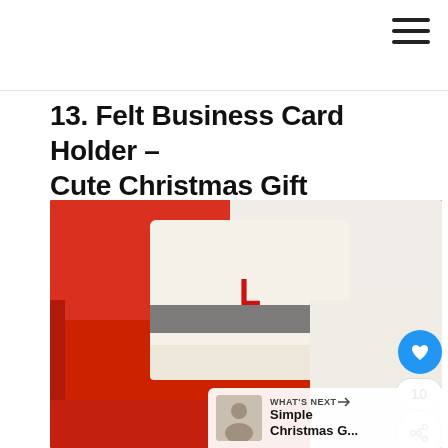13. Felt Business Card Holder – Cute Christmas Gift
[Figure (photo): A cream/off-white felt business card holder with a red letter 'L' monogram and a gray elastic band, resting on a red book/notebook with a dark pen beside it on a white surface.]
WHAT'S NEXT → Simple Christmas G...